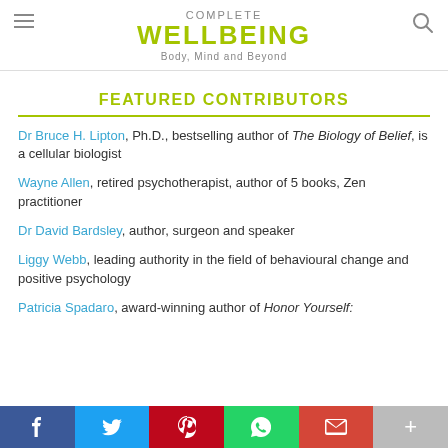COMPLETE WELLBEING — Body, Mind and Beyond
FEATURED CONTRIBUTORS
Dr Bruce H. Lipton, Ph.D., bestselling author of The Biology of Belief, is a cellular biologist
Wayne Allen, retired psychotherapist, author of 5 books, Zen practitioner
Dr David Bardsley, author, surgeon and speaker
Liggy Webb, leading authority in the field of behavioural change and positive psychology
Patricia Spadaro, award-winning author of Honor Yourself:
Social share bar: Facebook, Twitter, Pinterest, WhatsApp, Gmail, More